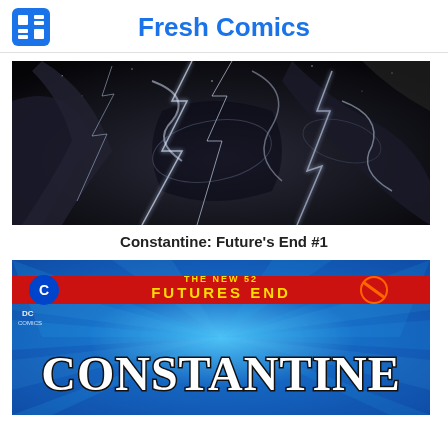Fresh Comics
[Figure (illustration): Dark moody scene with electric lightning bolts and swirling smoke/fabric shapes against a black starry background]
Constantine: Future's End #1
[Figure (illustration): Comic book cover for Constantine: Future's End #1 - The New 52 Futures End banner in red across the top, DC Comics logo top left, large stylized CONSTANTINE title in white/black letters on a blue radial background]